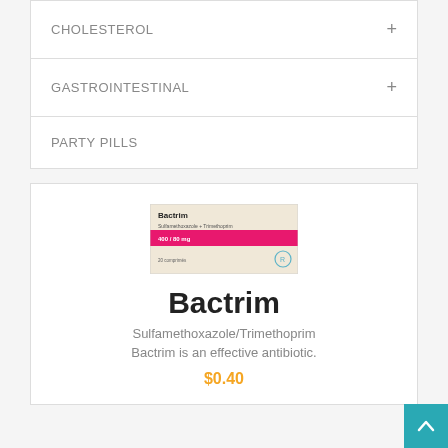CHOLESTEROL +
GASTROINTESTINAL +
PARTY PILLS
[Figure (photo): Bactrim drug package box with pink stripe label showing Sulfamethoxazole + Trimethoprim 400/80mg]
Bactrim
Sulfamethoxazole/Trimethoprim
Bactrim is an effective antibiotic.
$0.40